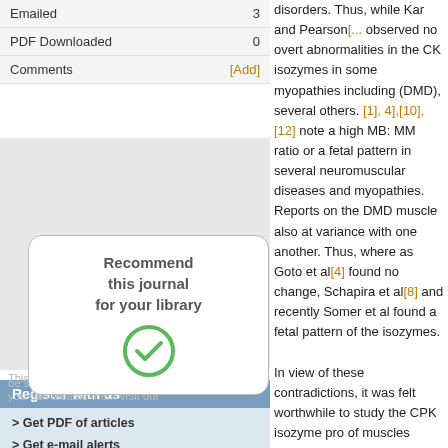|  |  |
| --- | --- |
| Emailed | 3 |
| PDF Downloaded | 0 |
| Comments | [Add] |
[Figure (other): Recommend this journal for your library button with green checkmark circle icon]
:: Material and methods
disorders. Thus, while Kar and Pearson[...] observed no overt abnormalities in the CK isozymes in some myopathies including (DMD), several others. [1], 4],[10],[12] note a high MB: MM ratio or a fetal pattern in several neuromuscular diseases and myopathies. Reports on the DMD muscle also at variance with one another. Thus, where as Goto et al[4] found no change, Schapira et al[8] and recently Somer et al found a fetal pattern of the isozymes. In view of these contradictions, it was felt worthwhile to study the CPK isozyme pro of muscles obtained from DMD patients a to compare them with those of fetal and normal individuals and also to assess muscle CPK activity as a comparative parameter.
Patients admitted to the Department of Neurosurgery of the King Edward VII Memorial Hospital, Parel, Bombay were investigated clinically (including genetic
> Get PDF of articles
> Get e-mail alerts
> Recieve notification of